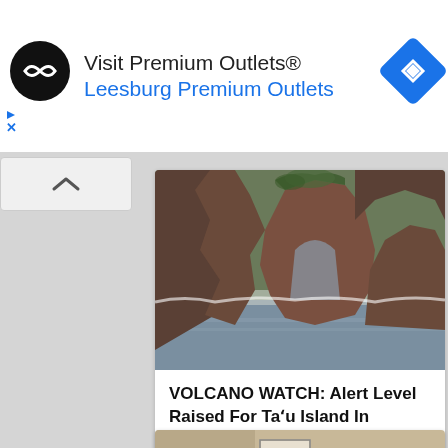[Figure (screenshot): Ad banner for Premium Outlets featuring black circular logo, 'Visit Premium Outlets®' text, 'Leesburg Premium Outlets' in blue, and blue navigation diamond icon. Small play and X icons at bottom left.]
[Figure (screenshot): Collapse/up-arrow button UI element on gray background]
[Figure (photo): Aerial or coastal photo of a rocky cliff/sea arch rising from ocean water]
VOLCANO WATCH: Alert Level Raised For Taʻu Island In American Samoa
[Figure (photo): Group of young people sitting in a circle in a room, one person playing guitar, plants and artwork visible in background]